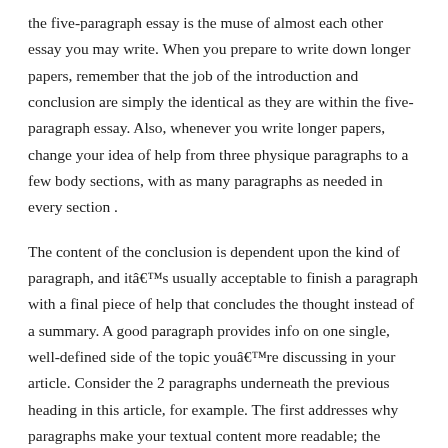the five-paragraph essay is the muse of almost each other essay you may write. When you prepare to write down longer papers, remember that the job of the introduction and conclusion are simply the identical as they are within the five-paragraph essay. Also, whenever you write longer papers, change your idea of help from three physique paragraphs to a few body sections, with as many paragraphs as needed in every section .
The content of the conclusion is dependent upon the kind of paragraph, and itâ€s usually acceptable to finish a paragraph with a final piece of help that concludes the thought instead of a summary. A good paragraph provides info on one single, well-defined side of the topic youâ€re discussing in your article. Consider the 2 paragraphs underneath the previous heading in this article, for example. The first addresses why paragraphs make your textual content more readable; the second discusses why they make your textual content more scannable. Of course, determining paragraph size can have practical issues.